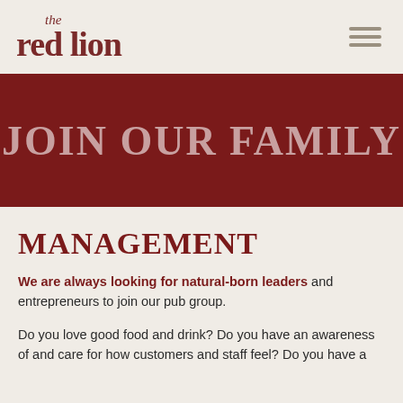the red lion
JOIN OUR FAMILY
MANAGEMENT
We are always looking for natural-born leaders and entrepreneurs to join our pub group.
Do you love good food and drink? Do you have an awareness of and care for how customers and staff feel? Do you have a